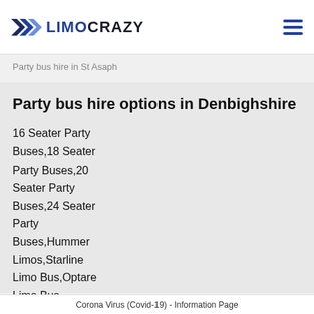LIMOCRAZY
Party bus hire in St Asaph
Party bus hire options in Denbighshire
16 Seater Party Buses,18 Seater Party Buses,20 Seater Party Buses,24 Seater Party Buses,Hummer Limos,Starline Limo Bus,Optare Limo Bus
Corona Virus (Covid-19) - Information Page